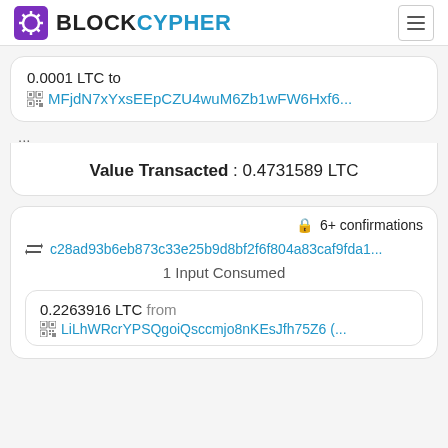BLOCKCYPHER
0.0001 LTC to MFjdN7xYxsEEpCZU4wuM6Zb1wFW6Hxf6...
...
Value Transacted : 0.4731589 LTC
6+ confirmations
c28ad93b6eb873c33e25b9d8bf2f6f804a83caf9fda1...
1 Input Consumed
0.2263916 LTC from LiLhWRcrYPSQgoiQsccmjo8nKEsJfh75Z6 (...